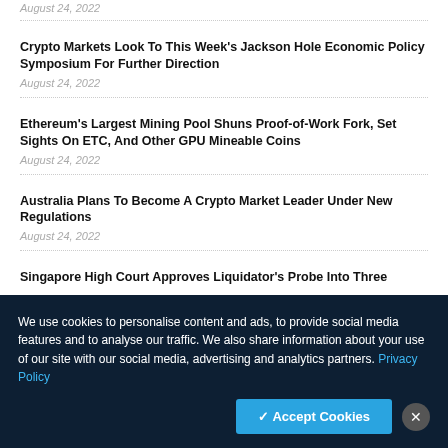August 24, 2022
Crypto Markets Look To This Week's Jackson Hole Economic Policy Symposium For Further Direction
August 24, 2022
Ethereum's Largest Mining Pool Shuns Proof-of-Work Fork, Set Sights On ETC, And Other GPU Mineable Coins
August 24, 2022
Australia Plans To Become A Crypto Market Leader Under New Regulations
August 24, 2022
Singapore High Court Approves Liquidator's Probe Into Three
We use cookies to personalise content and ads, to provide social media features and to analyse our traffic. We also share information about your use of our site with our social media, advertising and analytics partners. Privacy Policy